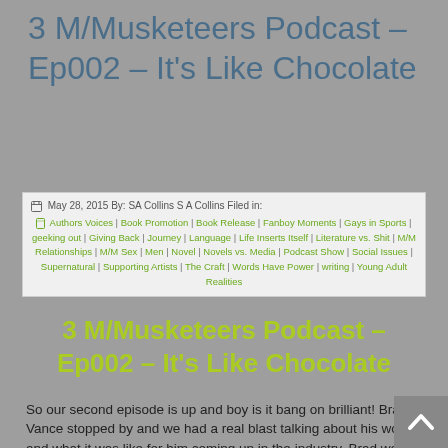3 M/Musketeers Podcast – Ep002 – It's Like Chocolate
May 28, 2015 By: SA Collins S A Collins Filed in: Authors Voices | Book Promotion | Book Release | Fanboy Moments | Gays in Sports | geeking out | Giving Back | Journey | Language | Life Inserts Itself | Literature vs. Shit | M/M Relationships | M/M Sex | Men | Novel | Novels vs. Media | Podcast Show | Social Issues | Supernatural | Supporting Artists | The Craft | Words Have Power | writing | Young Adult Realities
3 M/Musketeers Podcast – Ep002 – It's Like Chocolate
So our second episode is up and boy is it bang on brilliant! Brad Vance stopped by and we had a real blast talking about his works and what it was like for him coming up in the industry. Brad was a very engaging guest author/host and we were so lucky that he said yes when we asked him to come on and